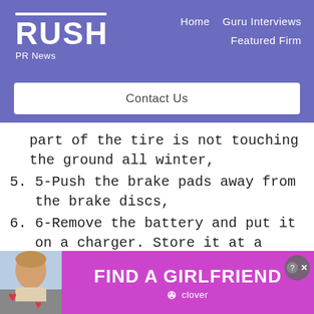RUSH PR News — Home | Guru Interviews | Featured Firm | Contact Us
part of the tire is not touching the ground all winter,
5. 5-Push the brake pads away from the brake discs,
6. 6-Remove the battery and put it on a charger. Store it at a temperature above 32 degrees F and trickle-charge it once a
[Figure (advertisement): Ad banner: Find A Girlfriend - Clover dating app advertisement with photo of a woman holding hearts]